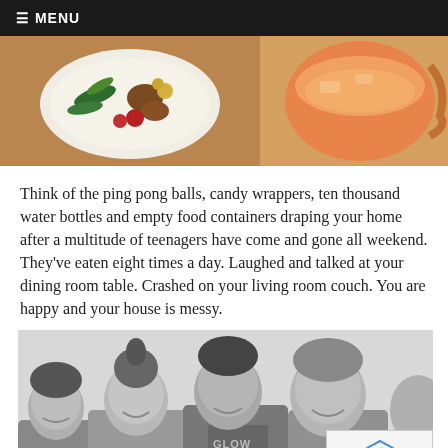≡ MENU
[Figure (photo): Overhead photo of a plate of food with vegetables and a large drink pitcher/jug with orange/pink beverage on a wooden table]
Think of the ping pong balls, candy wrappers, ten thousand water bottles and empty food containers draping your home after a multitude of teenagers have come and gone all weekend. They've eaten eight times a day. Laughed and talked at your dining room table. Crashed on your living room couch. You are happy and your house is messy.
[Figure (photo): Black and white photo of a group of teenage boys smiling together, one wearing a shirt with 'GLOW' text]